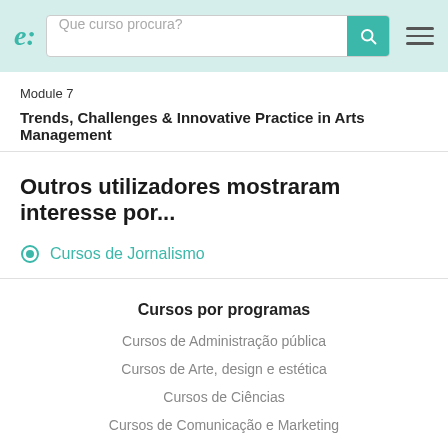e: [search box: Que curso procura?] [search button] [menu]
Module 7
Trends, Challenges & Innovative Practice in Arts Management
Outros utilizadores mostraram interesse por...
Cursos de Jornalismo
Cursos por programas
Cursos de Administração pública
Cursos de Arte, design e estética
Cursos de Ciências
Cursos de Comunicação e Marketing